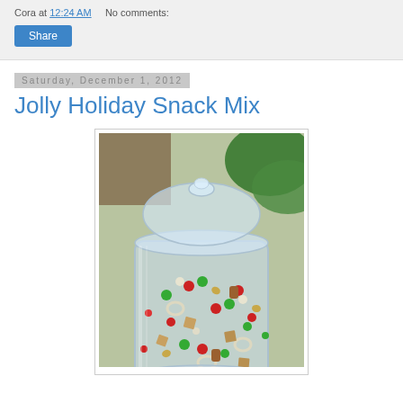Cora at 12:24 AM    No comments:
Share
Saturday, December 1, 2012
Jolly Holiday Snack Mix
[Figure (photo): A large glass jar with a glass lid filled with colorful holiday snack mix including M&Ms, pretzels, Chex cereal, nuts, and other treats in red, green, and white colors.]